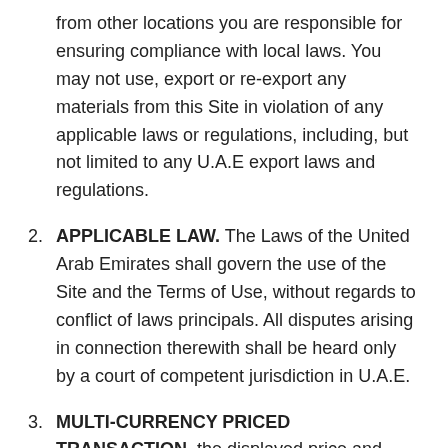from other locations you are responsible for ensuring compliance with local laws. You may not use, export or re-export any materials from this Site in violation of any applicable laws or regulations, including, but not limited to any U.A.E export laws and regulations.
2. APPLICABLE LAW. The Laws of the United Arab Emirates shall govern the use of the Site and the Terms of Use, without regards to conflict of laws principals. All disputes arising in connection therewith shall be heard only by a court of competent jurisdiction in U.A.E.
3. MULTI-CURRENCY PRICED TRANSACTION, the displayed price and currency selected by you, will be the same price and currency charged to the Card and printed on the Transaction Receipt.
4. PURCHASES. COMPANY accepts payment by Visa or